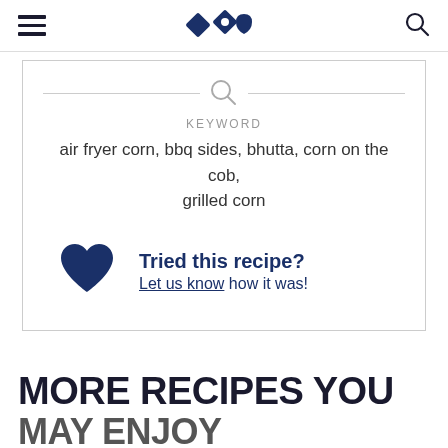Navigation header with hamburger menu, logo icons, and search icon
KEYWORD
air fryer corn, bbq sides, bhutta, corn on the cob, grilled corn
Tried this recipe? Let us know how it was!
MORE RECIPES YOU